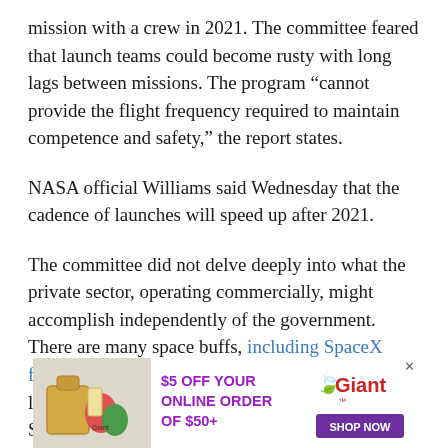mission with a crew in 2021. The committee feared that launch teams could become rusty with long lags between missions. The program “cannot provide the flight frequency required to maintain competence and safety,” the report states.
NASA official Williams said Wednesday that the cadence of launches will speed up after 2021.
The committee did not delve deeply into what the private sector, operating commercially, might accomplish independently of the government. There are many space buffs, including SpaceX founder Elon Musk, who have said they want to land on Mars. But committee member John Sommerer said Wednesday that it is unrealistic to
[Figure (other): Advertisement banner for Giant grocery store: '$5 OFF YOUR ONLINE ORDER OF $50+' with Giant logo and 'SHOP NOW' button, alongside an image of grocery items.]